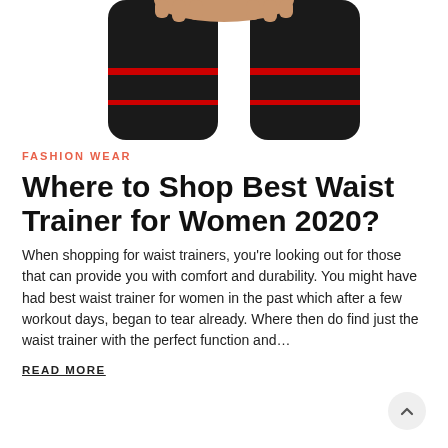[Figure (photo): Cropped photo of a woman's legs wearing black compression thigh wraps/sleeves with red trim accent, on white background]
FASHION WEAR
Where to Shop Best Waist Trainer for Women 2020?
When shopping for waist trainers, you're looking out for those that can provide you with comfort and durability. You might have had best waist trainer for women in the past which after a few workout days, began to tear already. Where then do find just the waist trainer with the perfect function and…
READ MORE